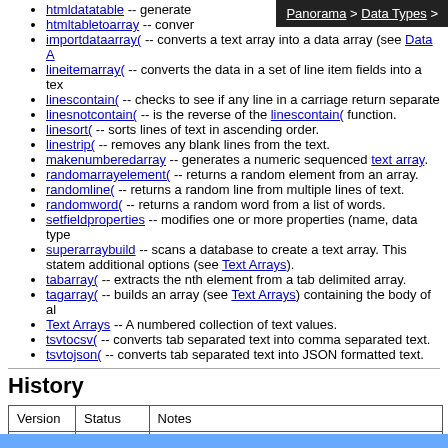Panorama > Data Types >
htmldatatable -- generate
htmltabletoarray -- conver
importdataarray( -- converts a text array into a data array (see Data A
lineitemarray( -- converts the data in a set of line item fields into a tex
linescontain( -- checks to see if any line in a carriage return separate
linesnotcontain( -- is the reverse of the linescontain( function.
linesort( -- sorts lines of text in ascending order.
linestrip( -- removes any blank lines from the text.
makenumberedarray -- generates a numeric sequenced text array.
randomarrayelement( -- returns a random element from an array.
randomline( -- returns a random line from multiple lines of text.
randomword( -- returns a random word from a list of words.
setfieldproperties -- modifies one or more properties (name, data type
superarraybuild -- scans a database to create a text array. This statem additional options (see Text Arrays).
tabarray( -- extracts the nth element from a tab delimited array.
tagarray( -- builds an array (see Text Arrays) containing the body of al
Text Arrays -- A numbered collection of text values.
tsvtocsv( -- converts tab separated text into comma separated text.
tsvtojson( -- converts tab separated text into JSON formatted text.
History
| Version | Status | Notes |
| --- | --- | --- |
| 10.0 | Updated | Carried over from Panorama 6.0, but much |